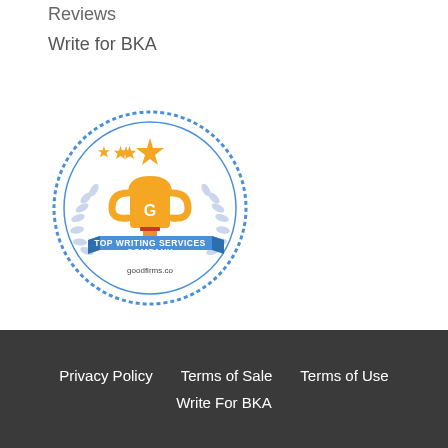Reviews
Write for BKA
[Figure (logo): GoodFirms badge: circular blue-bordered badge with a gold trophy, stars, laurel wreath, and blue ribbon banner reading 'TOP WRITING SERVICES COMPANY' with 'goodfirms.co' below]
Privacy Policy   Terms of Sale   Terms of Use   Write For BKA